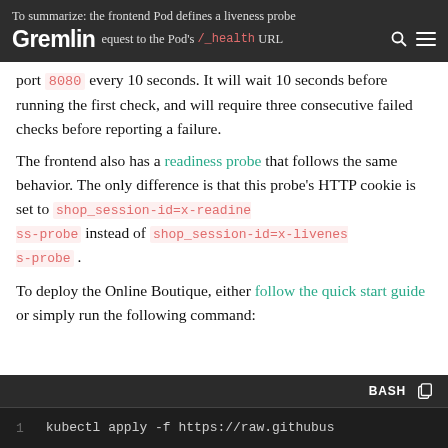Gremlin — To summarize: the frontend Pod defines a liveness probe request to the Pod's /_health URL on port 8080 every 10 seconds. It will wait 10 seconds before running the first check, and will require three consecutive failed checks before reporting a failure.
The frontend also has a readiness probe that follows the same behavior. The only difference is that this probe's HTTP cookie is set to shop_session-id=x-readiness-probe instead of shop_session-id=x-liveness-probe.
To deploy the Online Boutique, either follow the quick start guide or simply run the following command:
[Figure (screenshot): Dark-themed code block with BASH label showing: 1   kubectl apply -f https://raw.githubus...]